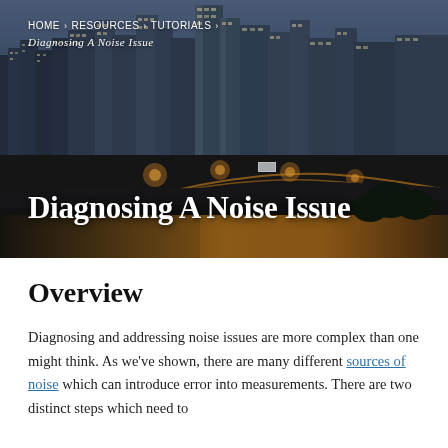[Figure (photo): Aerial night photo of a city skyline with highway interchanges lit by orange streetlights and illuminated skyscrapers in the background under a dusk sky.]
HOME › RESOURCES › TUTORIALS › Diagnosing A Noise Issue
Diagnosing A Noise Issue
Overview
Diagnosing and addressing noise issues are more complex than one might think. As we've shown, there are many different sources of noise which can introduce error into measurements. There are two distinct steps which need to